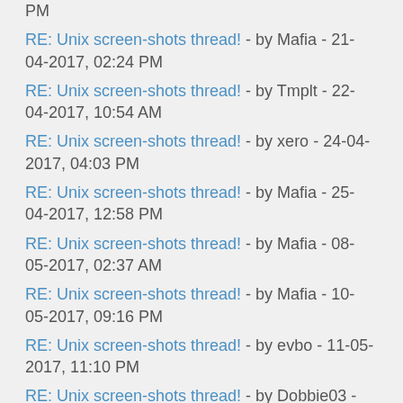PM
RE: Unix screen-shots thread! - by Mafia - 21-04-2017, 02:24 PM
RE: Unix screen-shots thread! - by Tmplt - 22-04-2017, 10:54 AM
RE: Unix screen-shots thread! - by xero - 24-04-2017, 04:03 PM
RE: Unix screen-shots thread! - by Mafia - 25-04-2017, 12:58 PM
RE: Unix screen-shots thread! - by Mafia - 08-05-2017, 02:37 AM
RE: Unix screen-shots thread! - by Mafia - 10-05-2017, 09:16 PM
RE: Unix screen-shots thread! - by evbo - 11-05-2017, 11:10 PM
RE: Unix screen-shots thread! - by Dobbie03 - 13-05-2017, 06:34 PM
RE: Unix screen-shots thread! - by r4ndom - 14-05-2017, 04:34 PM
RE: Unix screen-shots thread! - by Mafia - 22-05-2017, 02:47 AM